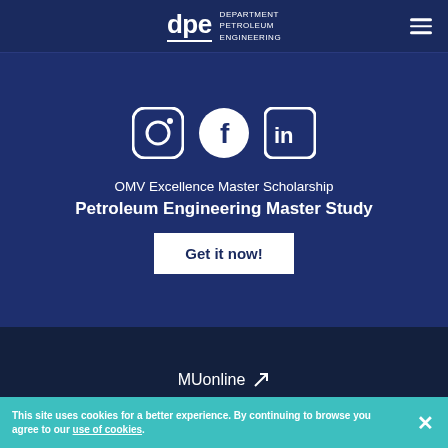dpe Department Petroleum Engineering
[Figure (logo): Instagram, Facebook, and LinkedIn social media icons in white on dark navy background]
OMV Excellence Master Scholarship
Petroleum Engineering Master Study
Get it now!
MUonline
This site uses cookies for a better experience. By continuing to browse you agree to our use of cookies.